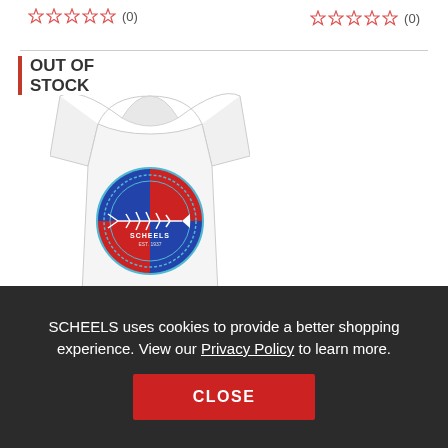☆☆☆☆☆ (0)   ☆☆☆☆☆ (0)
[Figure (photo): White t-shirt with a circular Scheels fish/bones graphic design in red, white and blue on the back. An 'OUT OF STOCK' badge with a red left border appears overlaid on the upper-left of the product image.]
Men's Striker Bones Tee
SCHEELS uses cookies to provide a better shopping experience. View our Privacy Policy to learn more.
CLOSE